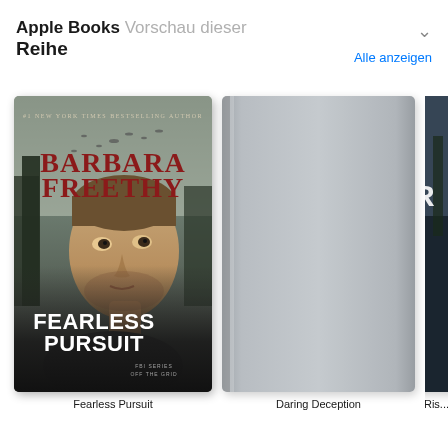Apple Books Vorschau dieser Reihe
Alle anzeigen
[Figure (photo): Book cover of 'Fearless Pursuit' by Barbara Freethy - #1 New York Times Bestselling Author. Shows a man's face against a moody forest background with birds. FBI Series Off The Grid.]
Fearless Pursuit
[Figure (photo): Gray placeholder book cover for 'Daring Deception']
Daring Deception
[Figure (photo): Partially visible book cover, cropped on right edge]
Ris...